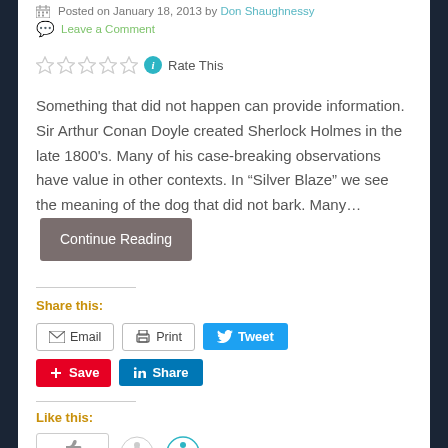Posted on January 18, 2013 by Don Shaughnessy
Leave a Comment
Rate This
Something that did not happen can provide information. Sir Arthur Conan Doyle created Sherlock Holmes in the late 1800's. Many of his case-breaking observations have value in other contexts. In “Silver Blaze” we see the meaning of the dog that did not bark. Many... Continue Reading
Share this:
Email  Print  Tweet  Save  Share
Like this: